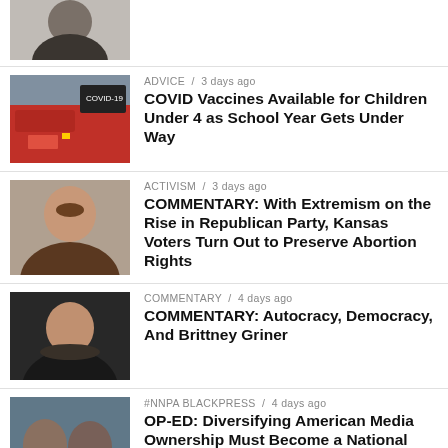[Figure (photo): Partial photo of a person, top of feed]
[Figure (photo): COVID sign and fire truck thumbnail]
ADVICE / 3 days ago
COVID Vaccines Available for Children Under 4 as School Year Gets Under Way
[Figure (photo): Man smiling, activism article thumbnail]
ACTIVISM / 3 days ago
COMMENTARY: With Extremism on the Rise in Republican Party, Kansas Voters Turn Out to Preserve Abortion Rights
[Figure (photo): Man smiling, commentary article thumbnail]
COMMENTARY / 4 days ago
COMMENTARY: Autocracy, Democracy, And Brittney Griner
[Figure (photo): Two men, NNPA Blackpress article thumbnail]
#NNPA BLACKPRESS / 4 days ago
OP-ED: Diversifying American Media Ownership Must Become a National Priority
[Figure (photo): Group photo, art article thumbnail]
ART / 4 days ago